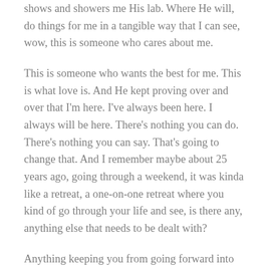shows and showers me His lab. Where He will, do things for me in a tangible way that I can see, wow, this is someone who cares about me.
This is someone who wants the best for me. This is what love is. And He kept proving over and over that I'm here. I've always been here. I always will be here. There's nothing you can do. There's nothing you can say. That's going to change that. And I remember maybe about 25 years ago, going through a weekend, it was kinda like a retreat, a one-on-one retreat where you kind of go through your life and see, is there any, anything else that needs to be dealt with?
Anything keeping you from going forward into what God has for you. And I remember during that time asking Him, asking, God, God, I just have one question. If you loved me, where were you when these things happen to me as a child? Where were